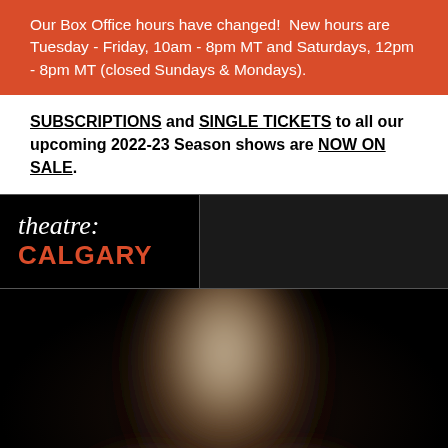Our Box Office hours have changed!  New hours are Tuesday - Friday, 10am - 8pm MT and Saturdays, 12pm - 8pm MT (closed Sundays & Mondays).
SUBSCRIPTIONS and SINGLE TICKETS to all our upcoming 2022-23 Season shows are NOW ON SALE.
[Figure (logo): Theatre Calgary logo: italic serif 'theatre:' in white above bold sans-serif 'CALGARY' in orange-red, on black background]
[Figure (photo): Blurred dark artistic photo of a human figure/torso on a dark background]